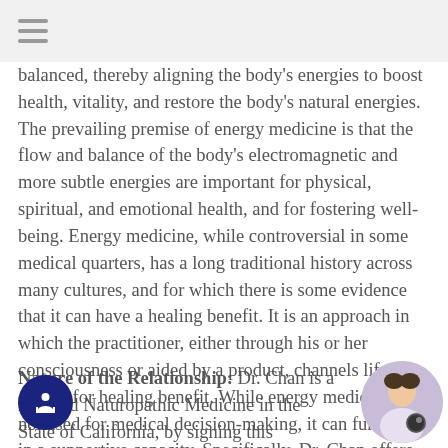☰
balanced, thereby aligning the body's energies to boost health, vitality, and restore the body's natural energies. The prevailing premise of energy medicine is that the flow and balance of the body's electromagnetic and more subtle energies are important for physical, spiritual, and emotional health, and for fostering well-being. Energy medicine, while controversial in some medical quarters, has a long traditional history across many cultures, and for which there is some evidence that it can have a healing benefit. It is an approach in which the practitioner, either through his or her consciousness or aided by a product, channels life energy for healing benefit. While energy medicine is not used for medical decision-making, it can function in a supportive capacity. Specifically, Dr. Chan offers the Energy Methods.
Nature of the Relationship: Dr. Chan is a licensed Naturopathic Medicine in the State of California, by signing this document, all Clients understand services are offered